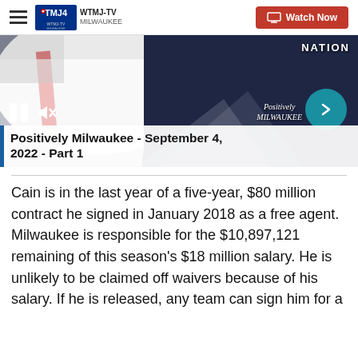WTMJ-TV MILWAUKEE | Watch Now
[Figure (screenshot): Video thumbnail showing a jersey/flag with 'NATION' text watermark, video playback controls (pause and mute icons), an arrow circle button, and a 'Positively Milwaukee' watermark]
Positively Milwaukee - September 4, 2022 - Part 1
Cain is in the last year of a five-year, $80 million contract he signed in January 2018 as a free agent. Milwaukee is responsible for the $10,897,121 remaining of this season's $18 million salary. He is unlikely to be claimed off waivers because of his salary. If he is released, any team can sign him for a prorated share of the $700,000 minimum...